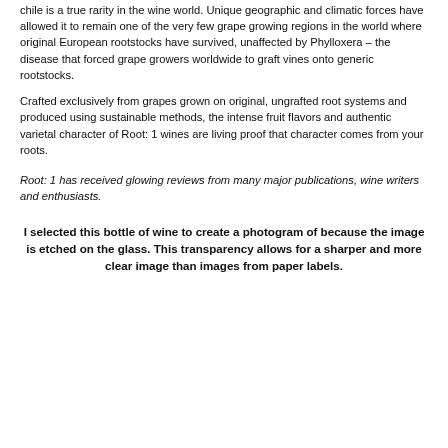chile is a true rarity in the wine world. Unique geographic and climatic forces have allowed it to remain one of the very few grape growing regions in the world where original European rootstocks have survived, unaffected by Phylloxera – the disease that forced grape growers worldwide to graft vines onto generic rootstocks.
Crafted exclusively from grapes grown on original, ungrafted root systems and produced using sustainable methods, the intense fruit flavors and authentic varietal character of Root: 1 wines are living proof that character comes from your roots.
Root: 1 has received glowing reviews from many major publications, wine writers and enthusiasts.
I selected this bottle of wine to create a photogram of because the image is etched on the glass. This transparency allows for a sharper and more clear image than images from paper labels.